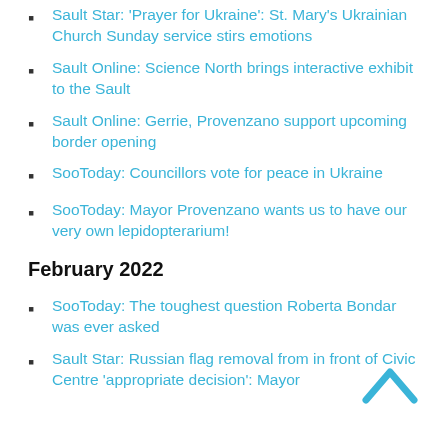Sault Star: 'Prayer for Ukraine': St. Mary's Ukrainian Church Sunday service stirs emotions
Sault Online: Science North brings interactive exhibit to the Sault
Sault Online: Gerrie, Provenzano support upcoming border opening
SooToday: Councillors vote for peace in Ukraine
SooToday: Mayor Provenzano wants us to have our very own lepidopterarium!
February 2022
SooToday: The toughest question Roberta Bondar was ever asked
Sault Star: Russian flag removal from in front of Civic Centre 'appropriate decision': Mayor